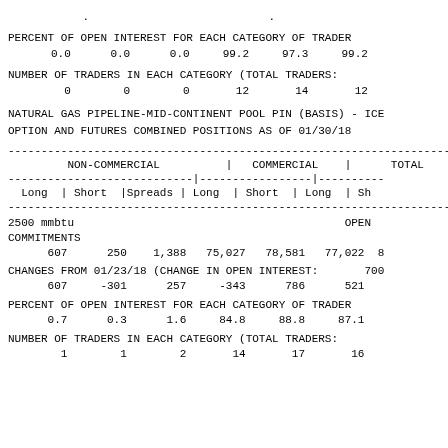. . . . . .
PERCENT OF OPEN INTEREST FOR EACH CATEGORY OF TRADER
0.0      0.0      0.0     99.2     97.3     99.2
NUMBER OF TRADERS IN EACH CATEGORY (TOTAL TRADERS:
0        0        0       12       14       12
NATURAL GAS PIPELINE-MID-CONTINENT POOL PIN (BASIS) - ICE
OPTION AND FUTURES COMBINED POSITIONS AS OF 01/30/18
| NON-COMMERCIAL | COMMERCIAL | TOTAL |
| --- | --- | --- |
| Long | Short |Spreads | Long | Short | Long | Sh |
| 607 | 250 | 1,388 | 75,027 | 78,581 | 77,022 | 8 |
| 607 | -301 | 257 | -343 | 786 | 521 |  |
| 0.7 | 0.3 | 1.6 | 84.8 | 88.8 | 87.1 |  |
| 1 | 1 | 2 | 14 | 17 | 16 |  |
CHANGES FROM 01/23/18 (CHANGE IN OPEN INTEREST: 70
607     -301      257     -343      786      521
PERCENT OF OPEN INTEREST FOR EACH CATEGORY OF TRADER
0.7      0.3      1.6     84.8     88.8     87.1
NUMBER OF TRADERS IN EACH CATEGORY (TOTAL TRADERS:
1        1        2       14       17       16